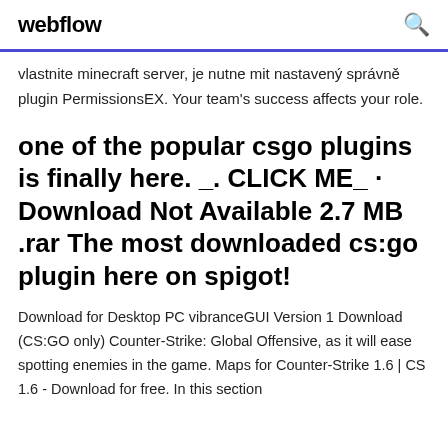webflow
vlastnite minecraft server, je nutne mit nastavený správně plugin PermissionsEX. Your team's success affects your role.
one of the popular csgo plugins is finally here. _. CLICK ME_ · Download Not Available 2.7 MB .rar The most downloaded cs:go plugin here on spigot!
Download for Desktop PC vibranceGUI Version 1 Download (CS:GO only) Counter-Strike: Global Offensive, as it will ease spotting enemies in the game. Maps for Counter-Strike 1.6 | CS 1.6 - Download for free. In this section